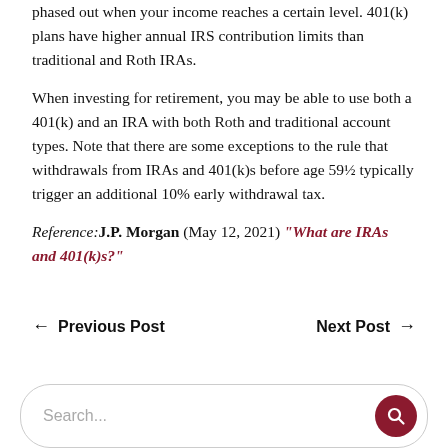phased out when your income reaches a certain level. 401(k) plans have higher annual IRS contribution limits than traditional and Roth IRAs.
When investing for retirement, you may be able to use both a 401(k) and an IRA with both Roth and traditional account types. Note that there are some exceptions to the rule that withdrawals from IRAs and 401(k)s before age 59½ typically trigger an additional 10% early withdrawal tax.
Reference: J.P. Morgan (May 12, 2021) "What are IRAs and 401(k)s?"
← Previous Post    Next Post →
Search...